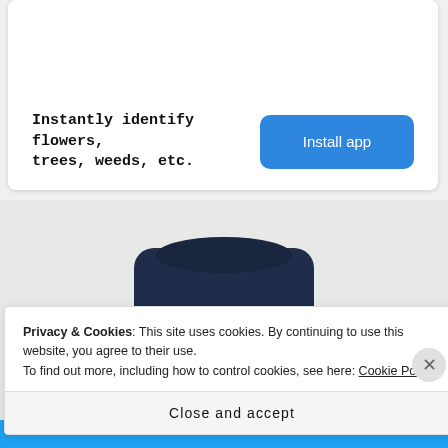[Figure (infographic): App advertisement card with text 'Instantly identify flowers, trees, weeds, etc.' and a blue 'Install app' button]
Instantly identify flowers, trees, weeds, etc.
[Figure (photo): Photo of a person wearing a dark navy/blue cowboy hat with light-colored hair visible beneath]
Privacy & Cookies: This site uses cookies. By continuing to use this website, you agree to their use.
To find out more, including how to control cookies, see here: Cookie Policy
Close and accept
BROWSING